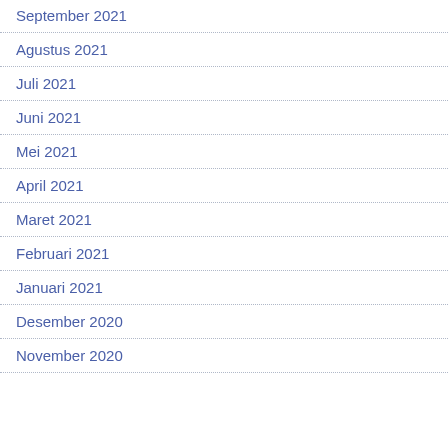September 2021
Agustus 2021
Juli 2021
Juni 2021
Mei 2021
April 2021
Maret 2021
Februari 2021
Januari 2021
Desember 2020
November 2020